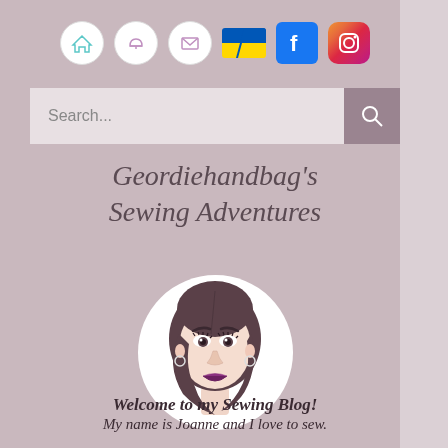[Figure (screenshot): Navigation bar with home, bell/service, mail icons (white circles), Ukrainian flag icon, Facebook icon, and Instagram icon]
[Figure (screenshot): Search bar with placeholder text 'Search...' and a search button with magnifying glass icon on taupe background]
Geordiehandbag's Sewing Adventures
[Figure (illustration): Circular avatar illustration of a woman with dark hair, earrings, and purple lipstick on white background]
Welcome to my Sewing Blog! My name is Joanne and I love to sew.